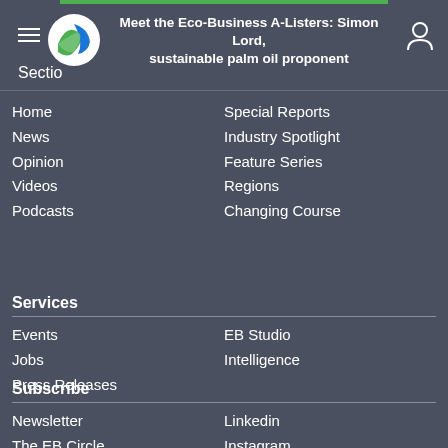Meet the Eco-Business A-Listers: Simon Lord, sustainable palm oil proponent
Home
News
Opinion
Videos
Podcasts
Special Reports
Industry Spotlight
Feature Series
Regions
Changing Course
Services
Events
Jobs
Press Releases
EB Studio
Intelligence
Subscribe
Newsletter
The EB Circle
Facebook
Twitter
Linkedin
Instagram
Telegram
RSS